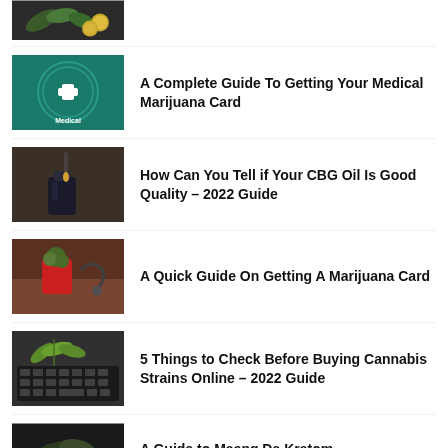[Figure (photo): Cannabis leaves and gold coins on dark background (partially cropped at top)]
[Figure (photo): Medical marijuana card with green background and plus/cross symbol]
A Complete Guide To Getting Your Medical Marijuana Card
[Figure (photo): CBG oil being dropped from dropper into bottle]
How Can You Tell if Your CBG Oil Is Good Quality – 2022 Guide
[Figure (photo): Marijuana bud in red cup next to stethoscope on desk]
A Quick Guide On Getting A Marijuana Card
[Figure (photo): Cannabis leaf on laptop keyboard]
5 Things to Check Before Buying Cannabis Strains Online – 2022 Guide
[Figure (photo): Dark image partially visible at bottom]
A Guide to Maeng Da Kratom